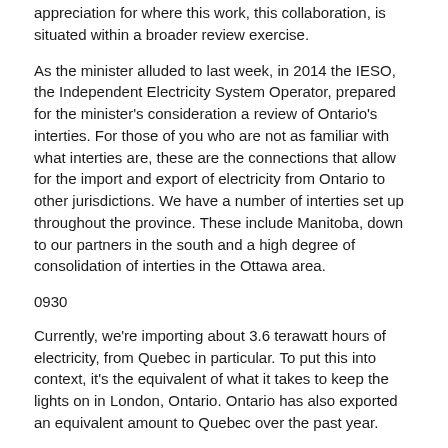appreciation for where this work, this collaboration, is situated within a broader review exercise.
As the minister alluded to last week, in 2014 the IESO, the Independent Electricity System Operator, prepared for the minister's consideration a review of Ontario's interties. For those of you who are not as familiar with what interties are, these are the connections that allow for the import and export of electricity from Ontario to other jurisdictions. We have a number of interties set up throughout the province. These include Manitoba, down to our partners in the south and a high degree of consolidation of interties in the Ottawa area.
0930
Currently, we're importing about 3.6 terawatt hours of electricity, from Quebec in particular. To put this into context, it's the equivalent of what it takes to keep the lights on in London, Ontario. Ontario has also exported an equivalent amount to Quebec over the past year.